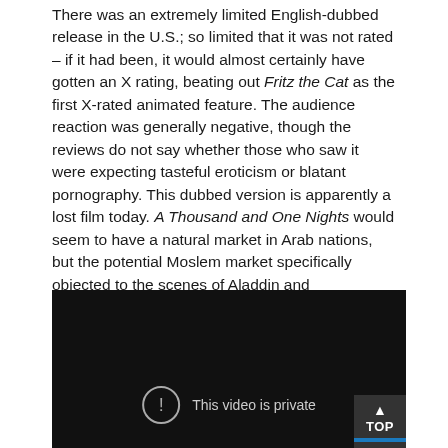There was an extremely limited English-dubbed release in the U.S.; so limited that it was not rated – if it had been, it would almost certainly have gotten an X rating, beating out Fritz the Cat as the first X-rated animated feature. The audience reaction was generally negative, though the reviews do not say whether those who saw it were expecting tasteful eroticism or blatant pornography. This dubbed version is apparently a lost film today. A Thousand and One Nights would seem to have a natural market in Arab nations, but the potential Moslem market specifically objected to the scenes of Aladdin and presumably-Moslem voluptuaries drinking wine and feasting on pork. So despite its domestic success, A Thousand and One Nights was not the international success that Tezuka and Mushi Pro had hoped for.
[Figure (other): Embedded video player showing a private video. Dark black background with an exclamation mark circle icon and the text 'This video is private'. A 'TOP' button with upward triangle arrow is in the bottom-right corner with a blue bar beneath it.]